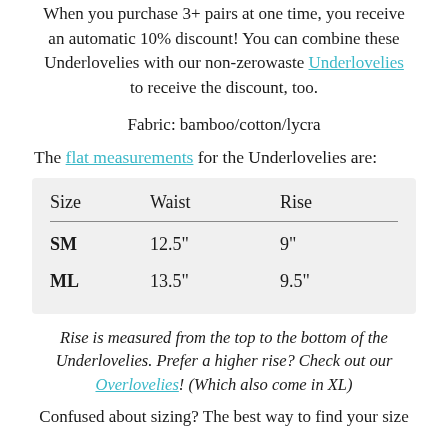When you purchase 3+ pairs at one time, you receive an automatic 10% discount! You can combine these Underlovelies with our non-zerowaste Underlovelies to receive the discount, too.
Fabric: bamboo/cotton/lycra
The flat measurements for the Underlovelies are:
| Size | Waist | Rise |
| --- | --- | --- |
| SM | 12.5" | 9" |
| ML | 13.5" | 9.5" |
Rise is measured from the top to the bottom of the Underlovelies. Prefer a higher rise? Check out our Overlovelies! (Which also come in XL)
Confused about sizing? The best way to find your size